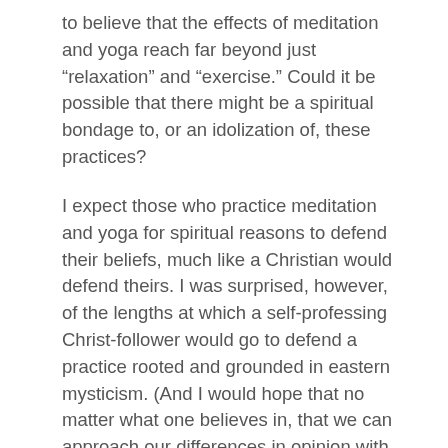to believe that the effects of meditation and yoga reach far beyond just “relaxation” and “exercise.” Could it be possible that there might be a spiritual bondage to, or an idolization of, these practices?
I expect those who practice meditation and yoga for spiritual reasons to defend their beliefs, much like a Christian would defend theirs. I was surprised, however, of the lengths at which a self-professing Christ-follower would go to defend a practice rooted and grounded in eastern mysticism. (And I would hope that no matter what one believes in, that we can approach our differences in opinion with dignity, love and respect.)
These days, meditation and yoga are marketed as good for your health. And I believe that —